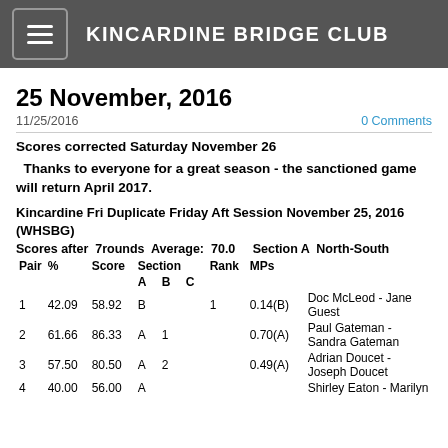KINCARDINE BRIDGE CLUB
25 November, 2016
11/25/2016
0 Comments
Scores corrected Saturday November 26
Thanks to everyone for a great season - the sanctioned game will return April 2017.
Kincardine Fri Duplicate Friday Aft Session November 25, 2016 (WHSBG)
Scores after 7rounds Average: 70.0   Section A North-South
| Pair | % | Score | Section |  |  | Rank | MPs |  |
| --- | --- | --- | --- | --- | --- | --- | --- | --- |
|  |  |  | A | B | C |  |  |  |
| 1 | 42.09 | 58.92 | B |  |  | 1 | 0.14(B) | Doc McLeod - Jane Guest |
| 2 | 61.66 | 86.33 | A | 1 |  |  | 0.70(A) | Paul Gateman - Sandra Gateman |
| 3 | 57.50 | 80.50 | A | 2 |  |  | 0.49(A) | Adrian Doucet - Joseph Doucet |
| 4 | 40.00 | 56.00 | A |  |  |  |  | Shirley Eaton - Marilyn |